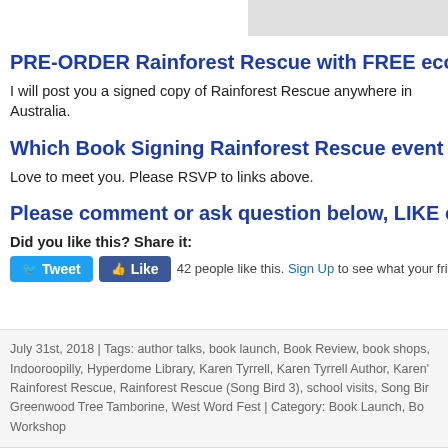PRE-ORDER Rainforest Rescue with FREE eco w
I will post you a signed copy of Rainforest Rescue anywhere in Australia.
Which Book Signing Rainforest Rescue event w
Love to meet you. Please RSVP to links above.
Please comment or ask question below, LIKE o
Did you like this? Share it:
Tweet  Like  42 people like this. Sign Up to see what your friends like.
July 31st, 2018 | Tags: author talks, book launch, Book Review, book shops, Indooroopilly, Hyperdome Library, Karen Tyrrell, Karen Tyrrell Author, Karen' Rainforest Rescue, Rainforest Rescue (Song Bird 3), school visits, Song Bir Greenwood Tree Tamborine, West Word Fest | Category: Book Launch, Bo Workshop